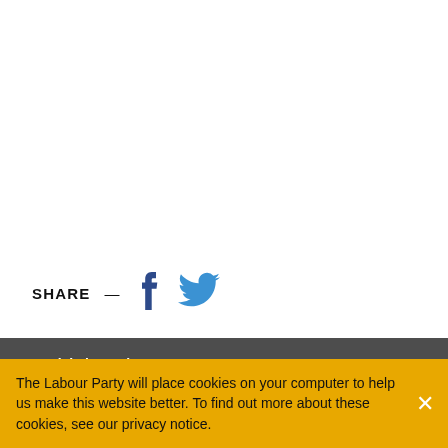SHARE — [Facebook icon] [Twitter icon]
Social channels
The Labour Party will place cookies on your computer to help us make this website better. To find out more about these cookies, see our privacy notice.